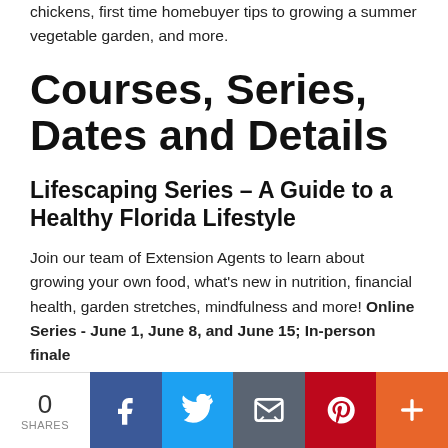chickens, first time homebuyer tips to growing a summer vegetable garden, and more.
Courses, Series, Dates and Details
Lifescaping Series – A Guide to a Healthy Florida Lifestyle
Join our team of Extension Agents to learn about growing your own food, what's new in nutrition, financial health, garden stretches, mindfulness and more! Online Series - June 1, June 8, and June 15; In-person finale
0 SHARES | Facebook | Twitter | Email | Pinterest | More